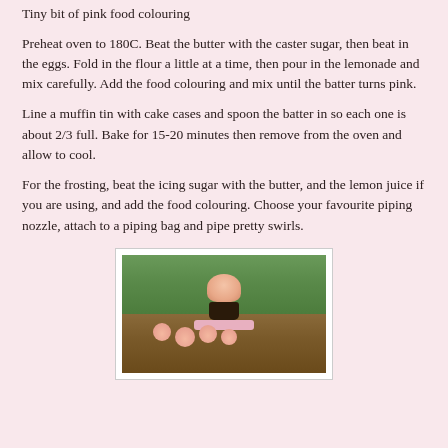Tiny bit of pink food colouring
Preheat oven to 180C. Beat the butter with the caster sugar, then beat in the eggs. Fold in the flour a little at a time, then pour in the lemonade and mix carefully. Add the food colouring and mix until the batter turns pink.
Line a muffin tin with cake cases and spoon the batter in so each one is about 2/3 full. Bake for 15-20 minutes then remove from the oven and allow to cool.
For the frosting, beat the icing sugar with the butter, and the lemon juice if you are using, and add the food colouring. Choose your favourite piping nozzle, attach to a piping bag and pipe pretty swirls.
[Figure (photo): Photo of pink frosted cupcakes outdoors, one cupcake displayed on a pink cake stand with pink roses/cupcakes arranged around the base, green garden background with wooden fence]